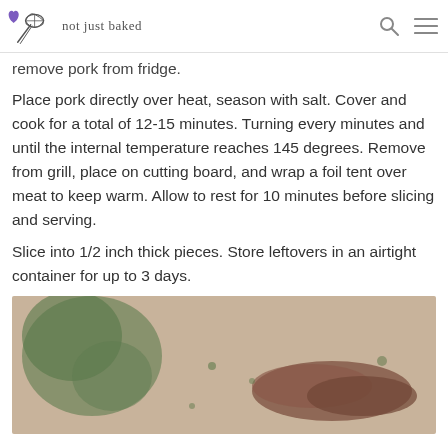not just baked
remove pork from fridge.
Place pork directly over heat, season with salt. Cover and cook for a total of 12-15 minutes. Turning every minutes and until the internal temperature reaches 145 degrees. Remove from grill, place on cutting board, and wrap a foil tent over meat to keep warm. Allow to rest for 10 minutes before slicing and serving.
Slice into 1/2 inch thick pieces. Store leftovers in an airtight container for up to 3 days.
[Figure (photo): Food photo showing cooked pork slices on a cutting board with herbs/garnish, slightly blurred, warm tones.]